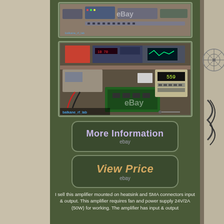[Figure (photo): Top photo of RF/electronics lab equipment on shelves with eBay watermark]
[Figure (photo): Main photo of RF lab bench with amplifier board, test equipment including HP multimeter showing 559, eBay watermark, balkane_rf_lab watermark]
[Figure (other): More Information button with eBay branding]
[Figure (other): View Price button with eBay branding]
I sell this amplifier mounted on heatsink and SMA connectors input & output. This amplifier requires fan and power supply 24V/2A (50W) for working. The amplifier has input & output